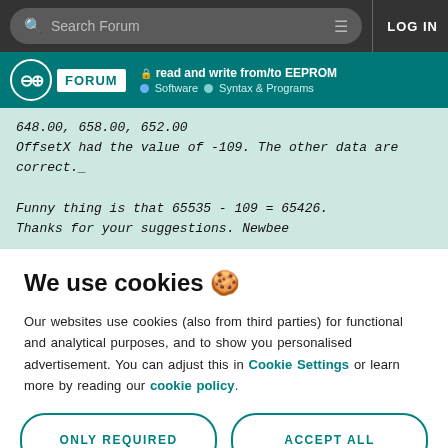Search Forum  LOG IN
read and write from/to EEPROM  Software  Syntax & Programs
648.00, 658.00, 652.00
OffsetX had the value of -109. The other data are correct._

Funny thing is that 65535 - 109 = 65426.
Thanks for your suggestions. Newbee
We use cookies 🍪
Our websites use cookies (also from third parties) for functional and analytical purposes, and to show you personalised advertisement. You can adjust this in Cookie Settings or learn more by reading our cookie policy.
ONLY REQUIRED
ACCEPT ALL